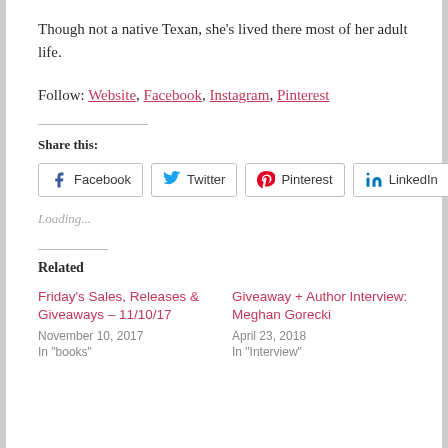Though not a native Texan, she's lived there most of her adult life.
Follow: Website, Facebook, Instagram, Pinterest
Share this:
[Figure (other): Social share buttons: Facebook, Twitter, Pinterest, LinkedIn]
Loading...
Related
Friday's Sales, Releases & Giveaways – 11/10/17
November 10, 2017
In "books"
Giveaway + Author Interview: Meghan Gorecki
April 23, 2018
In "Interview"